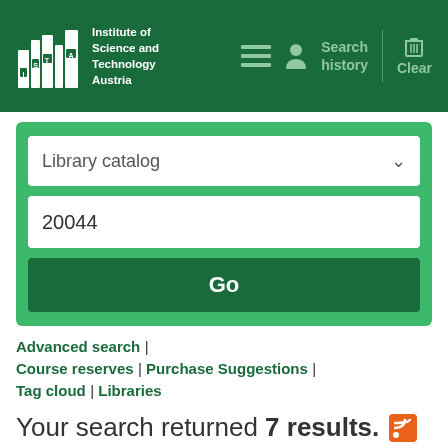[Figure (logo): ISTA (Institute of Science and Technology Austria) library logo and navigation header with green background, Search history link, and Clear button]
[Figure (screenshot): Search form with Library catalog dropdown, search input containing '20044', and Go button on green background]
Advanced search | Course reserves | Purchase Suggestions | Tag cloud | Libraries
Your search returned 7 results.
Not what you expected? Check for suggestions